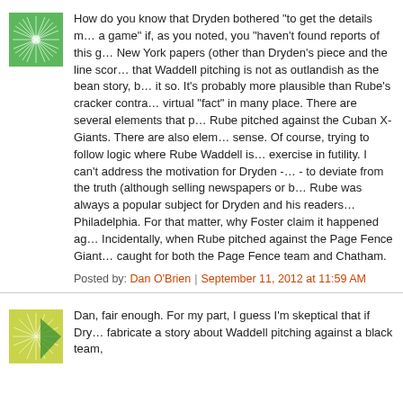How do you know that Dryden bothered "to get the details m... a game" if, as you noted, you "haven't found reports of this g... New York papers (other than Dryden's piece and the line scor... that Waddell pitching is not as outlandish as the bean story, b... it so. It's probably more plausible than Rube's cracker contra... virtual "fact" in many place. There are several elements that p... Rube pitched against the Cuban X-Giants. There are also elem... sense. Of course, trying to follow logic where Rube Waddell is... exercise in futility. I can't address the motivation for Dryden -... - to deviate from the truth (although selling newspapers or b... Rube was always a popular subject for Dryden and his readers... Philadelphia. For that matter, why Foster claim it happened ag... Incidentally, when Rube pitched against the Page Fence Giant... caught for both the Page Fence team and Chatham.
Posted by: Dan O'Brien | September 11, 2012 at 11:59 AM
Dan, fair enough. For my part, I guess I'm skeptical that if Dry... fabricate a story about Waddell pitching against a black team,